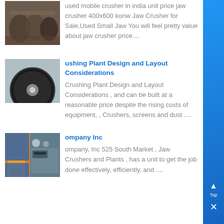used mobile crusher in india unit price jaw crusher 400x600 konw Jaw Crusher for Sale,Used Small Jaw You will feel pretty value about jaw crusher price....
[Figure (photo): Industrial crusher parts/drums stacked in a factory setting]
Crushing Plant Design and Layout Considerations — Crushing Plant Design and Layout Considerations , and can be built at a reasonable price despite the rising costs of equipment, , Crushers, screens and dust ....
[Figure (photo): Black circular mechanical component/disk on a flat surface]
Company Inc — ompany, Inc 525 South Market , Jaw Crushers and Plants , has a unit to get the job done effectively, efficiently, and ....
[Figure (photo): Worker in blue overalls operating industrial jaw crusher equipment]